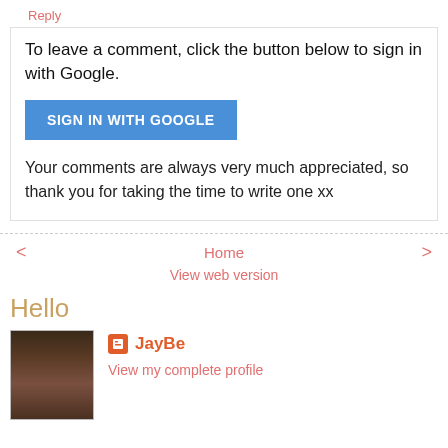Reply
To leave a comment, click the button below to sign in with Google.
[Figure (other): SIGN IN WITH GOOGLE blue button]
Your comments are always very much appreciated, so thank you for taking the time to write one xx
< Home >
View web version
Hello
[Figure (photo): Profile photo of a woman with dark hair and bangs]
JayBe
View my complete profile